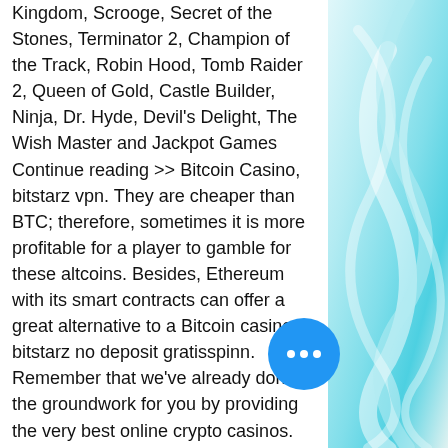Kingdom, Scrooge, Secret of the Stones, Terminator 2, Champion of the Track, Robin Hood, Tomb Raider 2, Queen of Gold, Castle Builder, Ninja, Dr. Hyde, Devil's Delight, The Wish Master and Jackpot Games Continue reading >> Bitcoin Casino, bitstarz vpn. They are cheaper than BTC; therefore, sometimes it is more profitable for a player to gamble for these altcoins. Besides, Ethereum with its smart contracts can offer a great alternative to a Bitcoin casino, bitstarz no deposit gratisspinn. Remember that we've already done the groundwork for you by providing the very best online crypto casinos. So you just need to decide which one is right for you, create your account, and have fun playing your favorite casino bitcoin games, bitstarz free bonus codes. The Bitcoin casino with our highest rating offers all these games, bitstarz no deposit bonus code. Customer Service ' All casinos don't offer fast and reliable customer service. Games crypto
[Figure (illustration): Decorative blue swirl/wave pattern on the right side of the page]